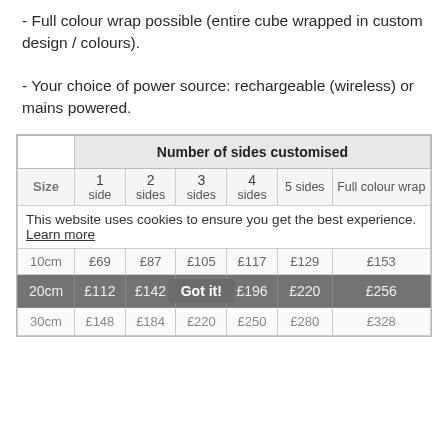- Full colour wrap possible (entire cube wrapped in custom design / colours).
- Your choice of power source: rechargeable (wireless) or mains powered.
| Size | 1 side | 2 sides | 3 sides | 4 sides | 5 sides | Full colour wrap |
| --- | --- | --- | --- | --- | --- | --- |
| 10cm | £69 | £87 | £105 | £117 | £129 | £153 |
| 20cm | £112 | £142 | £170 | £196 | £220 | £256 |
| 30cm | £148 | £184 | £220 | £250 | £280 | £328 |